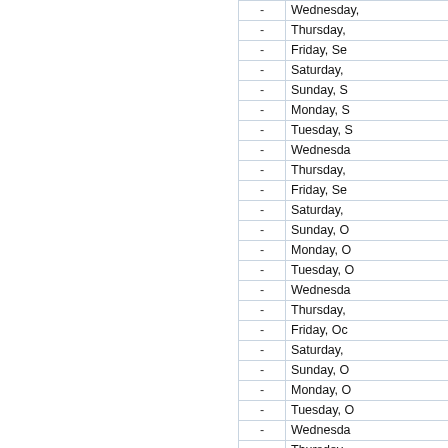| - | Date |
| --- | --- |
| - | Wednesday, |
| - | Thursday, |
| - | Friday, Se |
| - | Saturday, |
| - | Sunday, S |
| - | Monday, S |
| - | Tuesday, S |
| - | Wednesday |
| - | Thursday, |
| - | Friday, Se |
| - | Saturday, |
| - | Sunday, O |
| - | Monday, O |
| - | Tuesday, O |
| - | Wednesday |
| - | Thursday, |
| - | Friday, Oc |
| - | Saturday, |
| - | Sunday, O |
| - | Monday, O |
| - | Tuesday, O |
| - | Wednesday |
| - | Thursday, |
| - | Friday, Oc |
| - | Saturday, |
| - | Sunday, O |
| - | Monday, O |